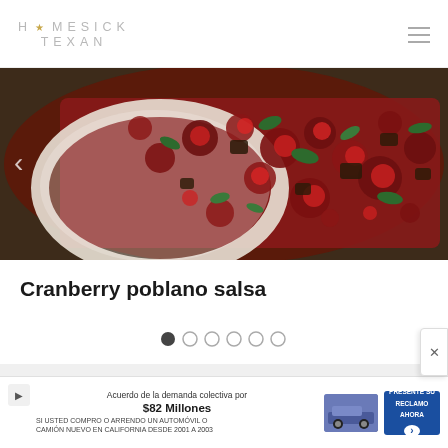HOMESICK TEXAN
[Figure (photo): Close-up photo of cranberry poblano salsa in a white bowl, showing red cranberries with green herbs and peppers]
Cranberry poblano salsa
[Figure (other): Slideshow dot navigation with 6 dots, first dot filled/active]
[Figure (other): Advertisement banner: Acuerdo de la demanda colectiva por $82 Millones - SI USTED COMPRO O ARRENDO UN AUTOMOVIL O CAMION NUEVO EN CALIFORNIA DESDE 2001 A 2003]